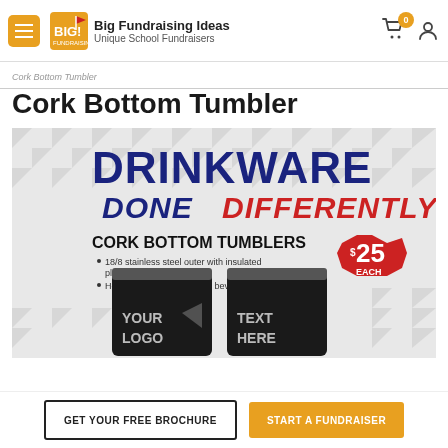Big Fundraising Ideas — Unique School Fundraisers
Cork Bottom Tumbler (breadcrumb)
Cork Bottom Tumbler
[Figure (photo): Product promotional image for Cork Bottom Tumblers showing text 'DRINKWARE DONE DIFFERENTLY', 'CORK BOTTOM TUMBLERS', bullet points about 18/8 stainless steel outer with insulated plastic lined inner shell and holds 20oz of your favorite beverage, price badge of $25 EACH, and two black tumblers with 'YOUR LOGO' and 'TEXT HERE' engraving placeholders.]
GET YOUR FREE BROCHURE
START A FUNDRAISER